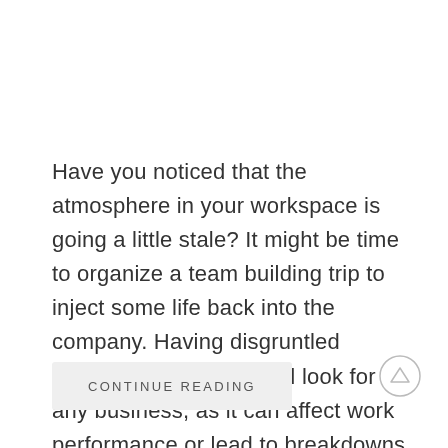Have you noticed that the atmosphere in your workspace is going a little stale? It might be time to organize a team building trip to inject some life back into the company. Having disgruntled employees is not a good look for any business, as it can affect work performance or lead to breakdowns in . . .
CONTINUE READING